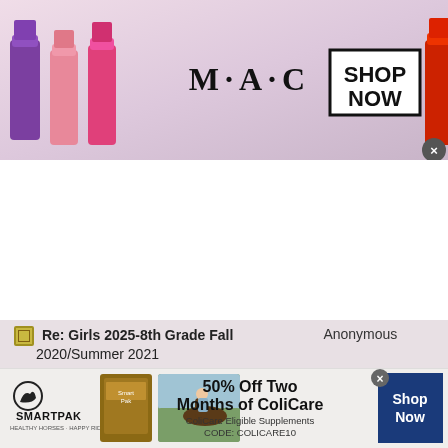[Figure (photo): MAC Cosmetics advertisement banner showing colorful lipsticks (purple, pink, hot pink, red) with MAC logo and SHOP NOW button]
| Thread Title | Author |
| --- | --- |
| Re: Girls 2025-8th Grade Fall 2020/Summer 2021 | Anonymous |
| Re: Girls 2025-8th Grade Fall 2020/Summer 2021 | Anonymous |
| Re: Girls 2025-8th Grade Fall 2020/Summer 2021 | Anonymous |
| Re: Girls 2025-8th Grade Fall 2020/Summer 2021 | Anonymous |
| Re: Girls 2025-8th Grade Fall 2020/Summer 2021 | Anonymous |
| Re: Girls 2025-8th Grade Fall 2020/Summer 2021 | Anonymous |
| Re: Girls 2025-8th Grade Fall 2020/Summer 2021 | Anonymous |
[Figure (photo): SmartPak advertisement with horse supplement product, horse and rider image, 50% Off Two Months of ColiCare offer, CODE: COLICARE10, Shop Now button]